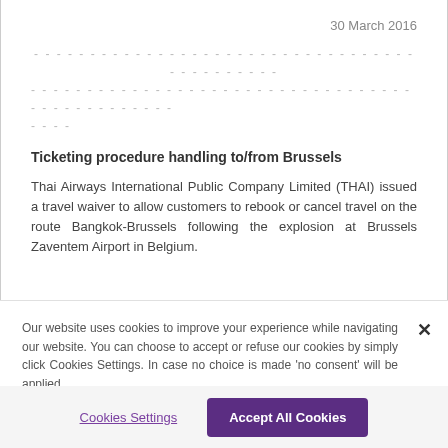30 March 2016
----------------------------------------------------------------------------------------------------
----------------------------------------------------------------------------------------------------
----
Ticketing procedure handling to/from Brussels
Thai Airways International Public Company Limited (THAI) issued a travel waiver to allow customers to rebook or cancel travel on the route Bangkok-Brussels following the explosion at Brussels Zaventem Airport in Belgium.
Our website uses cookies to improve your experience while navigating our website. You can choose to accept or refuse our cookies by simply click Cookies Settings. In case no choice is made 'no consent' will be applied.
Cookies Settings
Accept All Cookies